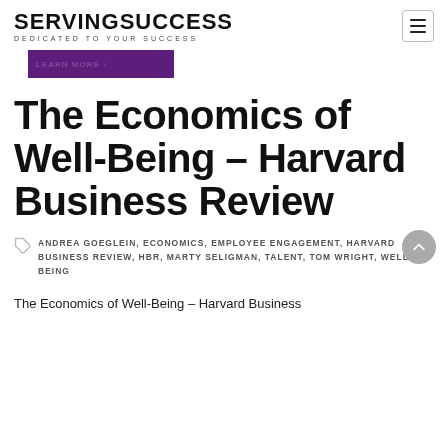SERVINGSUCCESS — DEDICATED TO YOUR SUCCESS
[Figure (other): Purple banner/button bar]
The Economics of Well-Being – Harvard Business Review
ANDREA GOEGLEIN, ECONOMICS, EMPLOYEE ENGAGEMENT, HARVARD BUSINESS REVIEW, HBR, MARTY SELIGMAN, TALENT, TOM WRIGHT, WELL-BEING
The Economics of Well-Being – Harvard Business